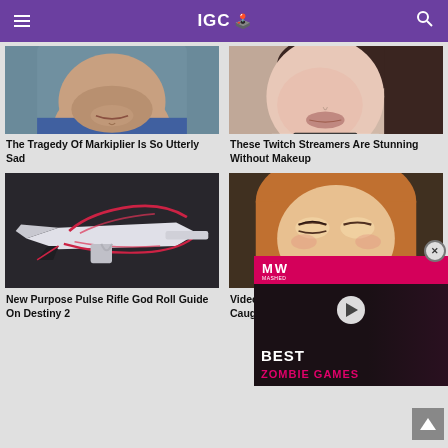IGC
[Figure (photo): Close-up photo of a man's lower face - Markiplier]
[Figure (photo): Close-up photo of a woman's face - Twitch streamer without makeup]
The Tragedy Of Markiplier Is So Utterly Sad
These Twitch Streamers Are Stunning Without Makeup
[Figure (photo): New Purpose Pulse Rifle exotic weapon from Destiny 2 on dark background]
[Figure (photo): Video game character - animated girl]
New Purpose Pulse Rifle God Roll Guide On Destiny 2
Video Games You Really Shouldn't Be Caught Playing By Your Kids
[Figure (screenshot): Mashed video overlay showing Best Zombie Games with play button]